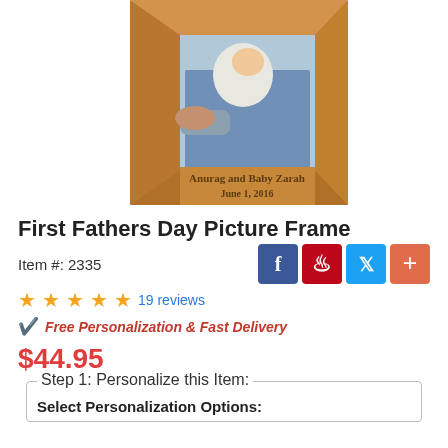[Figure (photo): A wooden picture frame displaying a photo of a newborn baby being held, with engraved text 'Anurag and Baby Zarah June 1, 2016' on the lower portion of the frame.]
First Fathers Day Picture Frame
Item #: 2335
★★★★★ 19 reviews
Free Personalization & Fast Delivery
$44.95
Step 1: Personalize this Item:
Select Personalization Options: